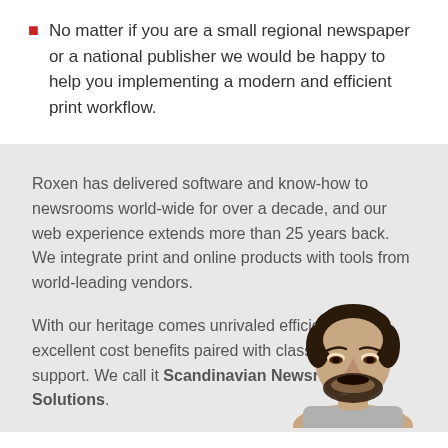No matter if you are a small regional newspaper or a national publisher we would be happy to help you implementing a modern and efficient print workflow.
Roxen has delivered software and know-how to newsrooms world-wide for over a decade, and our web experience extends more than 25 years back. We integrate print and online products with tools from world-leading vendors.
With our heritage comes unrivaled efficiency and excellent cost benefits paired with class-leading support. We call it Scandinavian Newsroom Solutions.
[Figure (photo): Photo of a man with dark hair, beard, looking down, shown from shoulders up]